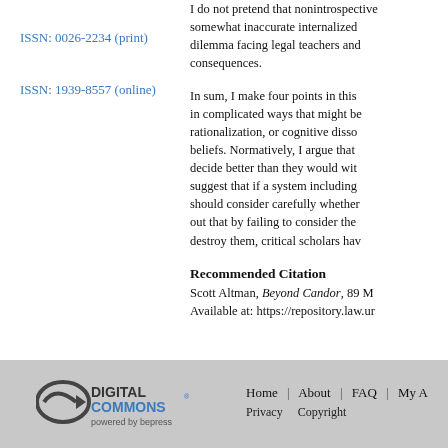ISSN: 0026-2234 (print)
ISSN: 1939-8557 (online)
I do not pretend that nonintrospective somewhat inaccurate internalized dilemma facing legal teachers and consequences.
In sum, I make four points in this in complicated ways that might be rationalization, or cognitive disso beliefs. Normatively, I argue that decide better than they would wit suggest that if a system including should consider carefully whether out that by failing to consider the destroy them, critical scholars hav
Recommended Citation
Scott Altman, Beyond Candor, 89 M
Available at: https://repository.law.ur
[Figure (logo): Digital Commons powered by bepress logo]
Home | About | FAQ | My A   Privacy   Copyright